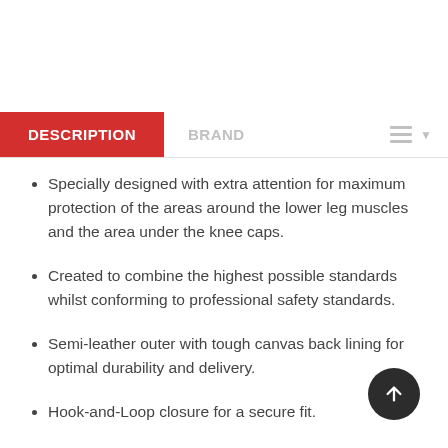DESCRIPTION
Specially designed with extra attention for maximum protection of the areas around the lower leg muscles and the area under the knee caps.
Created to combine the highest possible standards whilst conforming to professional safety standards.
Semi-leather outer with tough canvas back lining for optimal durability and delivery.
Hook-and-Loop closure for a secure fit.